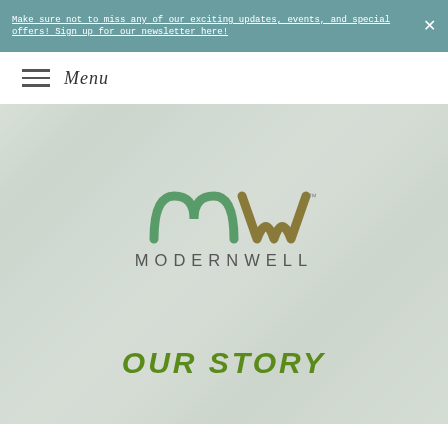Make sure not to miss any of our exciting updates, events, and special offers! Sign up for our newsletter here!
Menu
[Figure (photo): Website screenshot showing Modernwell branding page with a blurred background photo of women in a social/wellness setting. The Modernwell logo (mw lettermark and wordmark) is overlaid on the photo, along with the text 'OUR STORY' in bold green italic letters.]